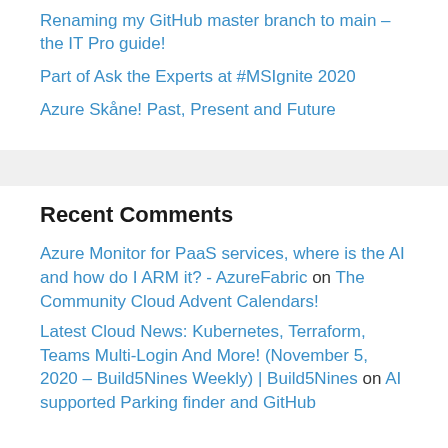Renaming my GitHub master branch to main – the IT Pro guide!
Part of Ask the Experts at #MSIgnite 2020
Azure Skåne! Past, Present and Future
Recent Comments
Azure Monitor for PaaS services, where is the AI and how do I ARM it? - AzureFabric on The Community Cloud Advent Calendars!
Latest Cloud News: Kubernetes, Terraform, Teams Multi-Login And More! (November 5, 2020 – Build5Nines Weekly) | Build5Nines on AI supported Parking finder and GitHub